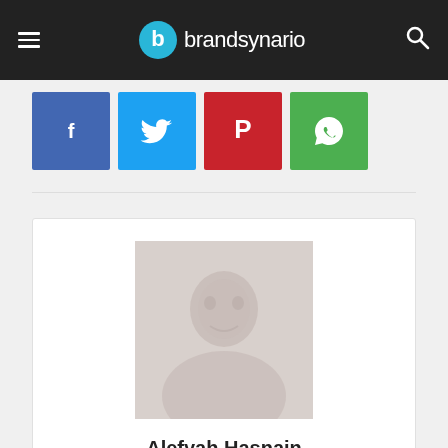brandsynario
[Figure (logo): Brandsynario website header with hamburger menu, circular blue logo with 'b', site name 'brandsynario' in white, and search icon on dark background]
[Figure (infographic): Row of four social media share buttons: Facebook (blue), Twitter (cyan), Pinterest (red), WhatsApp (green)]
[Figure (photo): Author profile photo of Alefyah Hasnain - a faded/light portrait photo]
Alefyah Hasnain
http://www.brandsynario.com/